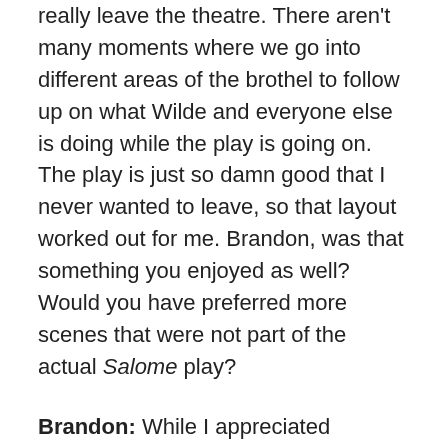really leave the theatre. There aren't many moments where we go into different areas of the brothel to follow up on what Wilde and everyone else is doing while the play is going on. The play is just so damn good that I never wanted to leave, so that layout worked out for me. Brandon, was that something you enjoyed as well? Would you have preferred more scenes that were not part of the actual Salome play?
Brandon: While I appreciated Russell's playfulness in burying the play under several layers of metatextual remove, I don't know that diving any deeper into the off-stage narrative would've added anything to this film's entertainment value. It makes sense for Russell to include Wilde's off-stage antics in the brothel for a couple reasons: to help highlight their shared qualities as button-pushing provocateurs and to give shape to